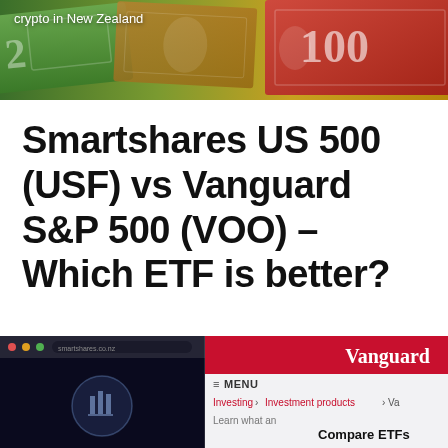[Figure (photo): Banner image of New Zealand currency notes (green $2, brown, and red $100 notes) with text 'crypto in New Zealand' overlaid in white in the top left corner.]
Smartshares US 500 (USF) vs Vanguard S&P 500 (VOO) – Which ETF is better?
18 Aug 2021  |  10 min read  |  10 Comments
[Figure (screenshot): Split screenshot: left side shows a dark Smartshares website with circular logo, right side shows the Vanguard website with red header, MENU, Investing breadcrumb, Investment products link, and Compare ETFs text.]